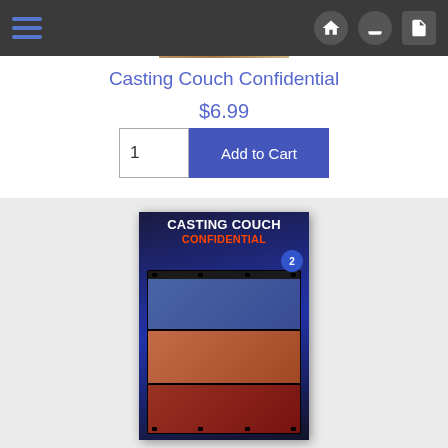Navigation bar with hamburger menu and home/upload/login icons
[Figure (photo): Partial product cover image visible at top]
Casting Couch Confidential
$6.99
1  Add to Cart
[Figure (photo): Product cover art for Casting Couch Confidential showing film strip design with the title in white and orange text, volume 2 badge, against a blue toned background]